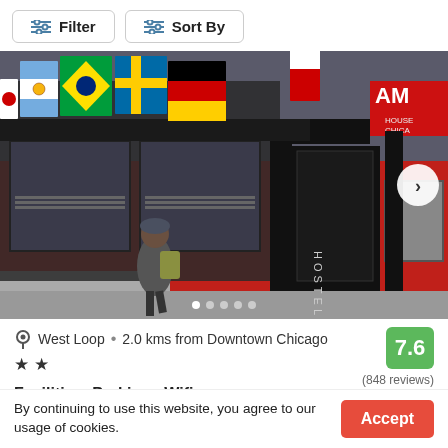Filter
Sort By
[Figure (photo): Exterior of a hostel building with red brick facade, multiple international flags hanging above the entrance, black columns, and a sign reading HOSTEL. A person with a backpack walks in front.]
West Loop • 2.0 kms from Downtown Chicago
★ ★
7.6
(848 reviews)
Facilities: Parking , Wifi
By continuing to use this website, you agree to our usage of cookies.
Accept